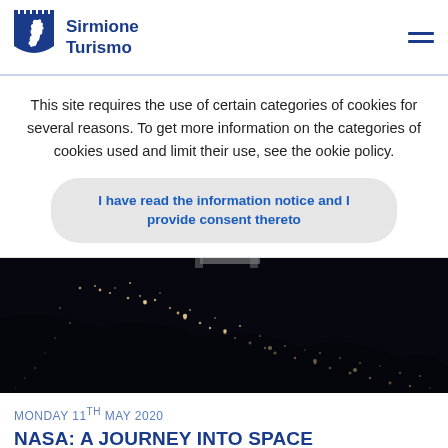Sirmione Turismo
This site requires the use of certain categories of cookies for several reasons. To get more information on the categories of cookies used and limit their use, see the ookie policy.
I have read the information notice and I provide consent thereto
[Figure (photo): Aerial night photo of Europe/Italy from space showing city lights against a dark background]
MONDAY 11TH MAY 2020
NASA: A JOURNEY INTO SPACE